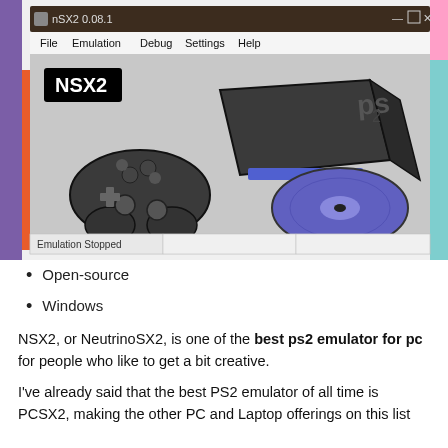[Figure (screenshot): Screenshot of nSX2 0.08.1 emulator window showing a cartoon-style illustration of a PS2 console with a controller and a disc. Menu bar shows File, Emulation, Debug, Settings, Help. Status bar shows 'Emulation Stopped'. NSX2 logo in black box at top-left of the emulator window.]
Open-source
Windows
NSX2, or NeutrinoSX2, is one of the best ps2 emulator for pc for people who like to get a bit creative.
I've already said that the best PS2 emulator of all time is PCSX2, making the other PC and Laptop offerings on this list